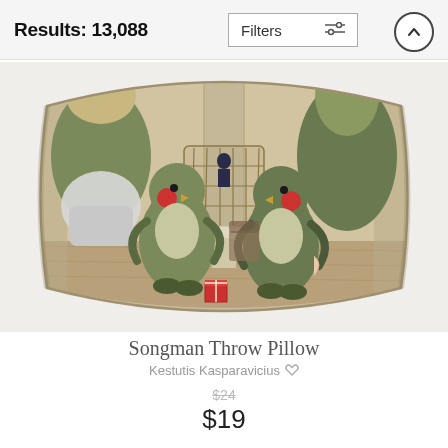Results: 13,088
[Figure (photo): A throw pillow featuring an illustration of large green penguin-like creatures in an indoor scene. Some creatures hold a lamp and stand around a table with a birdcage, while a tiny man sits inside the cage. Two creatures in the foreground have red cheeks. A small red gift box sits on the floor.]
Songman Throw Pillow
Kestutis Kasparavicius
$24
$19